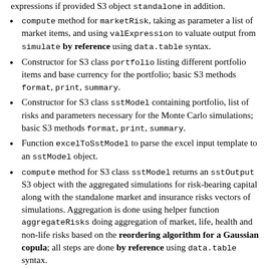expressions if provided S3 object standalone in addition.
compute method for marketRisk, taking as parameter a list of market items, and using valExpression to valuate output from simulate by reference using data.table syntax.
Constructor for S3 class portfolio listing different portfolio items and base currency for the portfolio; basic S3 methods format, print, summary.
Constructor for S3 class sstModel containing portfolio, list of risks and parameters necessary for the Monte Carlo simulations; basic S3 methods format, print, summary.
Function excelToSstModel to parse the excel input template to an sstModel object.
compute method for S3 class sstModel returns an sstOutput S3 object with the aggregated simulations for risk-bearing capital along with the standalone market and insurance risks vectors of simulations. Aggregation is done using helper function aggregateRisks doing aggregation of market, life, health and non-life risks based on the reordering algorithm for a Gaussian copula; all steps are done by reference using data.table syntax.
Helper functions expectedShortfall and valueAtRisk to compute expected shortfall and value at risk of a vector of simulations.
marketValueMargin, targetCapital, riskCapital, sstRatio S3 methods for class sstOutput to compute